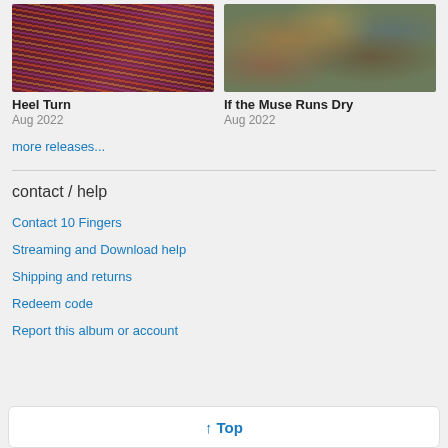[Figure (photo): Album cover thumbnail for Heel Turn - dark maroon/purple background with colorful wave pattern]
Heel Turn
Aug 2022
[Figure (photo): Album cover thumbnail for If the Muse Runs Dry - sage green background with marbled pattern]
If the Muse Runs Dry
Aug 2022
more releases...
contact / help
Contact 10 Fingers
Streaming and Download help
Shipping and returns
Redeem code
Report this album or account
↑ Top